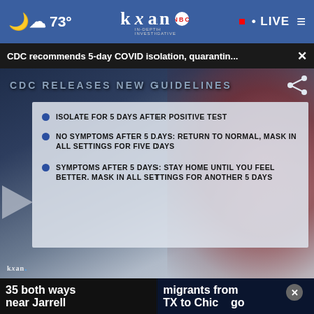73° kxan IN-DEPTH INVESTIGATIVE • LIVE
CDC recommends 5-day COVID isolation, quarantin... ×
[Figure (screenshot): KXAN news broadcast screenshot showing CDC Releases New Guidelines graphic with bullet points: ISOLATE FOR 5 DAYS AFTER POSITIVE TEST; NO SYMPTOMS AFTER 5 DAYS: RETURN TO NORMAL, MASK IN ALL SETTINGS FOR FIVE DAYS; SYMPTOMS AFTER 5 DAYS: STAY HOME UNTIL YOU FEEL BETTER. MASK IN ALL SETTINGS FOR ANOTHER 5 DAYS]
35 both ways near Jarrell
migrants from TX to Chicago
Prepare your home ahead of severe weather DOWNLOAD GUIDE modernize